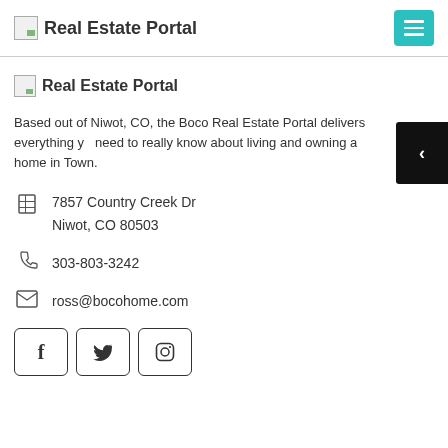Real Estate Portal
[Figure (logo): Real Estate Portal logo with broken image icon and text]
Based out of Niwot, CO, the Boco Real Estate Portal delivers everything you need to really know about living and owning a home in Town.
7857 Country Creek Dr
Niwot, CO 80503
303-803-3242
ross@bocohome.com
[Figure (other): Social media buttons: Facebook, Twitter, Instagram]